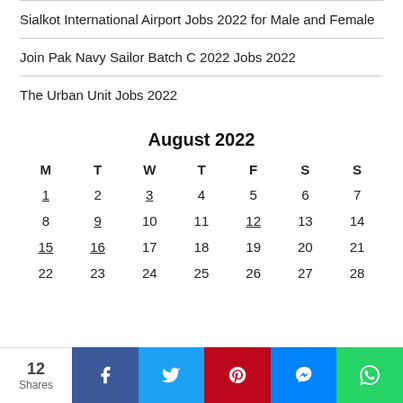Sialkot International Airport Jobs 2022 for Male and Female
Join Pak Navy Sailor Batch C 2022 Jobs 2022
The Urban Unit Jobs 2022
| M | T | W | T | F | S | S |
| --- | --- | --- | --- | --- | --- | --- |
| 1 | 2 | 3 | 4 | 5 | 6 | 7 |
| 8 | 9 | 10 | 11 | 12 | 13 | 14 |
| 15 | 16 | 17 | 18 | 19 | 20 | 21 |
| 22 | 23 | 24 | 25 | 26 | 27 | 28 |